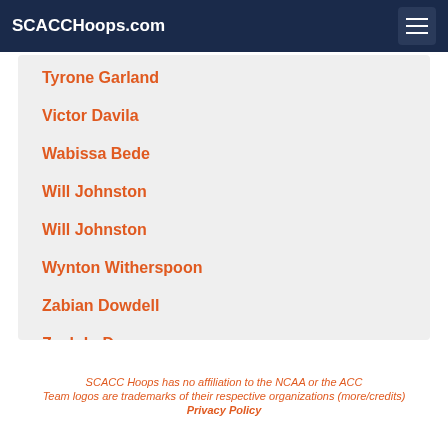SCACCHoops.com
Tyrone Garland
Victor Davila
Wabissa Bede
Will Johnston
Will Johnston
Wynton Witherspoon
Zabian Dowdell
Zach LeDay
SCACC Hoops has no affiliation to the NCAA or the ACC
Team logos are trademarks of their respective organizations (more/credits)
Privacy Policy